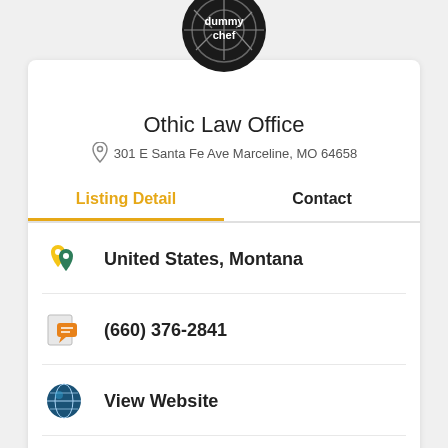[Figure (logo): Circular black logo with crosshair design and text 'dummy chef' in white]
Othic Law Office
301 E Santa Fe Ave Marceline, MO 64658
Listing Detail
Contact
United States, Montana
(660) 376-2841
View Website